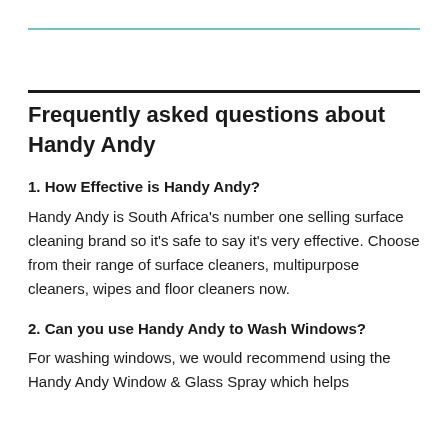Frequently asked questions about Handy Andy
1. How Effective is Handy Andy?
Handy Andy is South Africa's number one selling surface cleaning brand so it's safe to say it's very effective. Choose from their range of surface cleaners, multipurpose cleaners, wipes and floor cleaners now.
2. Can you use Handy Andy to Wash Windows?
For washing windows, we would recommend using the Handy Andy Window & Glass Spray which helps